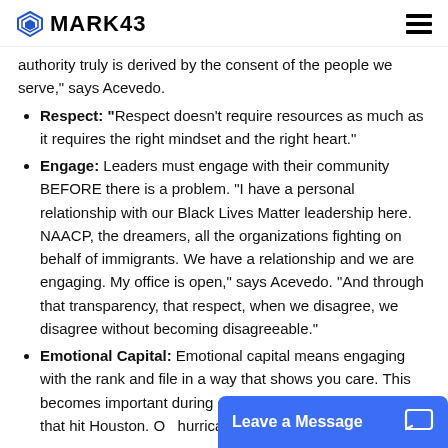MARK43
authority truly is derived by the consent of the people we serve," says Acevedo.
Respect: "Respect doesn't require resources as much as it requires the right mindset and the right heart."
Engage: Leaders must engage with their community BEFORE there is a problem. "I have a personal relationship with our Black Lives Matter leadership here. NAACP, the dreamers, all the organizations fighting on behalf of immigrants. We have a relationship and we are engaging. My office is open," says Acevedo. "And through that transparency, that respect, when we disagree, we disagree without becoming disagreeable."
Emotional Capital: Emotional capital means engaging with the rank and file in a way that shows you care. This becomes important during events like hurricane Harvey that hit Houston. O... hurricane, Acevedo... that they'll be telling...